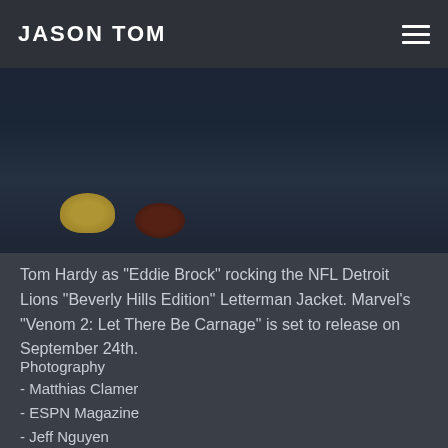JASON TOM
[Figure (photo): Tom Hardy as Eddie Brock in a dark store scene, wearing an NFL Detroit Lions Beverly Hills Edition Letterman Jacket]
Tom Hardy as "Eddie Brock" rocking the NFL Detroit Lions "Beverly Hills Edition" Letterman Jacket. Marvel's "Venom 2: Let There Be Carnage" is set to release on September 24th.
Photography
- Matthias Clamer
- ESPN Magazine
- Jeff Nguyen
- Pro Football Hall of Fame